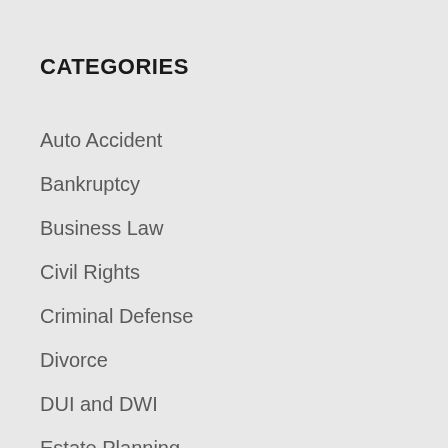CATEGORIES
Auto Accident
Bankruptcy
Business Law
Civil Rights
Criminal Defense
Divorce
DUI and DWI
Estate Planning
Family Law
General Practice